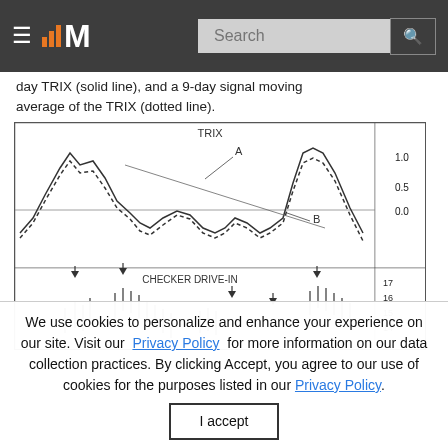MarketSchool logo header with search bar
day TRIX (solid line), and a 9-day signal moving average of the TRIX (dotted line).
[Figure (continuous-plot): Two-panel chart. Top panel shows TRIX indicator (solid line) and 9-day signal moving average (dotted line) with labels A (divergence area) and B (crossover area), y-axis values 1.0, 0.5, 0.0. Bottom panel shows CHECKER DRIVE-IN stock price chart with downward arrows marking sell signals, y-axis values 17, 16, 15, 14.]
We use cookies to personalize and enhance your experience on our site. Visit our Privacy Policy for more information on our data collection practices. By clicking Accept, you agree to our use of cookies for the purposes listed in our Privacy Policy.
I accept